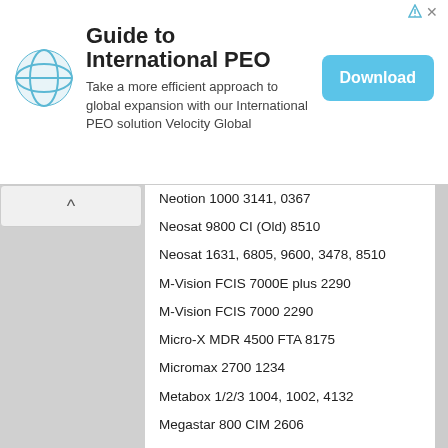[Figure (other): Advertisement banner for 'Guide to International PEO' by Velocity Global with a Download button]
Neotion 1000 3141, 0367
Neosat 9800 CI (Old) 8510
Neosat 1631, 6805, 9600, 3478, 8510
M-Vision FCIS 7000E plus 2290
M-Vision FCIS 7000 2290
Micro-X MDR 4500 FTA 8175
Micromax 2700 1234
Metabox 1/2/3 1004, 1002, 4132
Megastar 800 CIM 2606
Megastar 800 CI 2606
Megastar 700 FTA 2606, 3141
Medion 3000 FTA 0937
Mediastar HI-Tech 0282, 1004
Mediastar Fox Plus 4400, 9500, 2142
Mediacom MFT 930i 5347
Mediacom MFT 910i 1250
Mediacom MCI Elite 7777
Mediacom Exel 1250
Lorans 3141, 1250